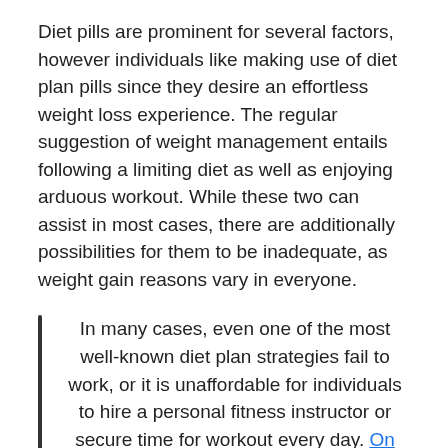Diet pills are prominent for several factors, however individuals like making use of diet plan pills since they desire an effortless weight loss experience. The regular suggestion of weight management entails following a limiting diet as well as enjoying arduous workout. While these two can assist in most cases, there are additionally possibilities for them to be inadequate, as weight gain reasons vary in everyone.
In many cases, even one of the most well-known diet plan strategies fail to work, or it is unaffordable for individuals to hire a personal fitness instructor or secure time for workout every day. On the other hand, using diet plan pills and also anticipating the body to reduce